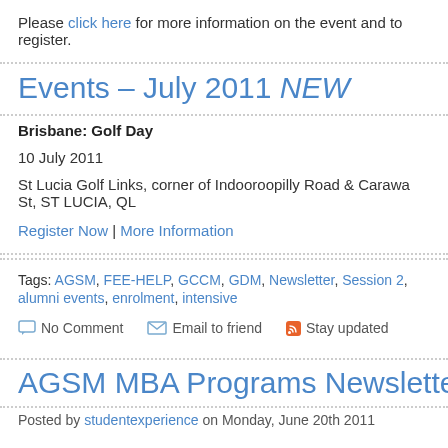Please click here for more information on the event and to register.
Events – July 2011 NEW
Brisbane: Golf Day
10 July 2011
St Lucia Golf Links, corner of Indooroopilly Road & Carawa St, ST LUCIA, QL
Register Now | More Information
Tags: AGSM, FEE-HELP, GCCM, GDM, Newsletter, Session 2, alumni events, enrolment, intensive
No Comment   Email to friend   Stay updated
AGSM MBA Programs Newsletter – W
Posted by studentexperience on Monday, June 20th 2011